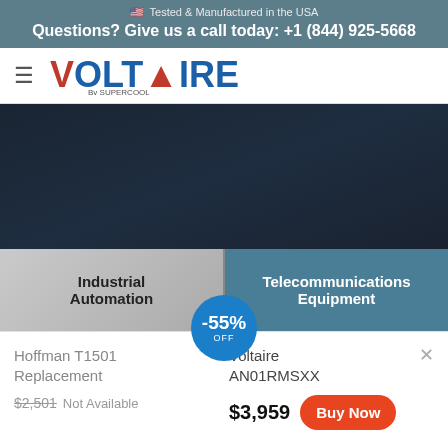🇺🇸 Tested & Manufactured in the USA
Questions? Give us a call today: +1 (844) 925-5668
[Figure (logo): Voltaire by Supercool logo with hamburger menu icon]
[Figure (photo): Dark navy/dark blue hero image section]
Industrial Automation
Telecommunications Equipment
Hoffman T1501 Replacement
$2,501 Not Available
Voltaire AN01RMSXX
-55% OFF
$3,959
Buy Now